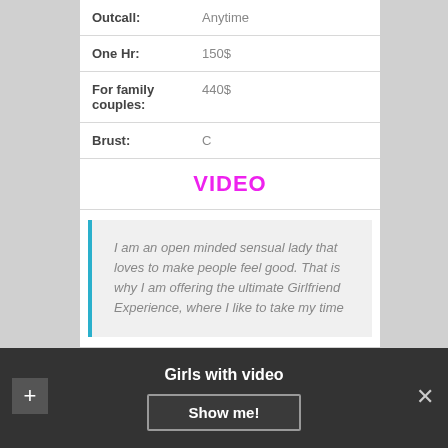| Outcall: | Anytime |
| One Hr: | 150$ |
| For family couples: | 440$ |
| Brust: | C |
VIDEO
I am an open minded sensual lady that loves to make people feel good. That is why I am offering the ultimate Girlfriend Experience, where I like to take my time
Girls with video
Show me!